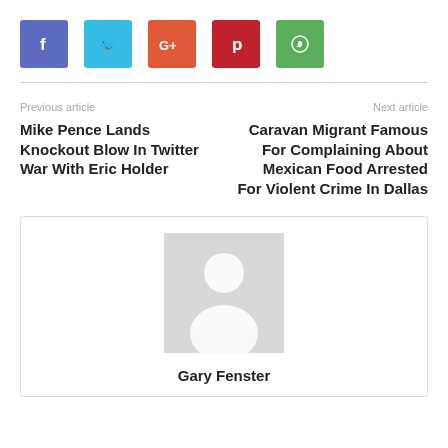[Figure (other): Social share buttons: Facebook (blue-purple), Twitter (light blue), Google+ (orange-red), Pinterest (dark red), WhatsApp (green)]
Previous article
Next article
Mike Pence Lands Knockout Blow In Twitter War With Eric Holder
Caravan Migrant Famous For Complaining About Mexican Food Arrested For Violent Crime In Dallas
[Figure (photo): Generic avatar placeholder image — grey background with white silhouette of a person]
Gary Fenster